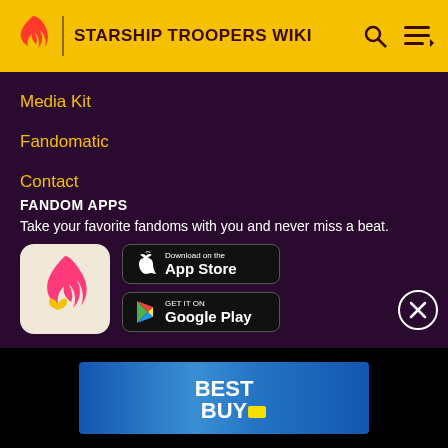STARSHIP TROOPERS WIKI
Media Kit
Fandomatic
Contact
FANDOM APPS
Take your favorite fandoms with you and never miss a beat.
[Figure (logo): Fandom app icon with pink flame and yellow heart on cream background]
[Figure (screenshot): Download on the App Store button (black)]
[Figure (screenshot): Get it on Google Play button (black)]
[Figure (logo): Best Buy advertisement banner in blue gradient]